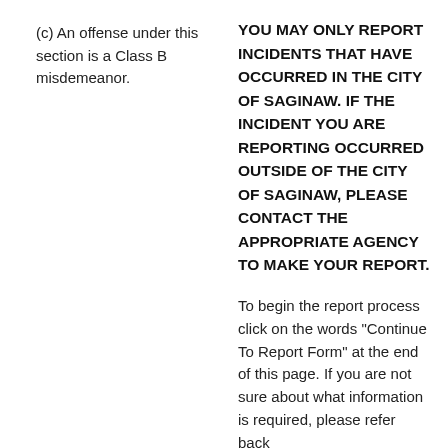(c) An offense under this section is a Class B misdemeanor.
YOU MAY ONLY REPORT INCIDENTS THAT HAVE OCCURRED IN THE CITY OF SAGINAW. IF THE INCIDENT YOU ARE REPORTING OCCURRED OUTSIDE OF THE CITY OF SAGINAW, PLEASE CONTACT THE APPROPRIATE AGENCY TO MAKE YOUR REPORT.
To begin the report process click on the words "Continue To Report Form" at the end of this page. If you are not sure about what information is required, please refer back